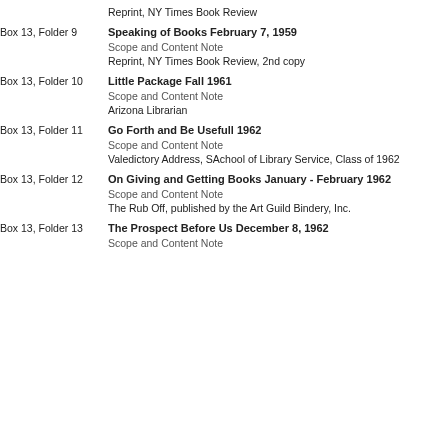Reprint, NY Times Book Review
Box 13, Folder 9
Speaking of Books February 7, 1959
Scope and Content Note
Reprint, NY Times Book Review, 2nd copy
Box 13, Folder 10
Little Package Fall 1961
Scope and Content Note
Arizona Librarian
Box 13, Folder 11
Go Forth and Be Usefull 1962
Scope and Content Note
Valedictory Address, SAchool of Library Service, Class of 1962
Box 13, Folder 12
On Giving and Getting Books January - February 1962
Scope and Content Note
The Rub Off, published by the Art Guild Bindery, Inc.
Box 13, Folder 13
The Prospect Before Us December 8, 1962
Scope and Content Note